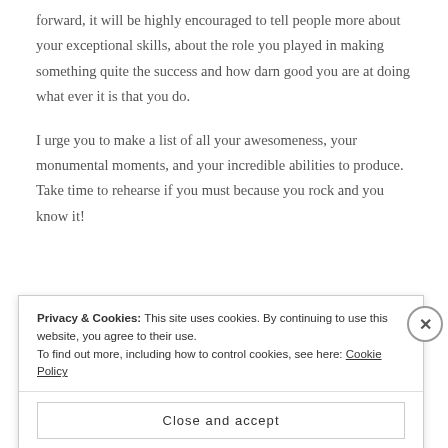forward, it will be highly encouraged to tell people more about your exceptional skills, about the role you played in making something quite the success and how darn good you are at doing what ever it is that you do.
I urge you to make a list of all your awesomeness, your monumental moments, and your incredible abilities to produce. Take time to rehearse if you must because you rock and you know it!
[Figure (photo): Partially visible photo of a person's head with dark hair, shown from the top. A red bar appears at the bottom of the image area.]
Privacy & Cookies: This site uses cookies. By continuing to use this website, you agree to their use.
To find out more, including how to control cookies, see here: Cookie Policy
Close and accept